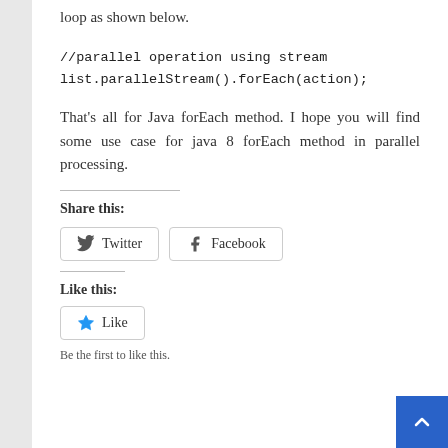loop as shown below.
That's all for Java forEach method. I hope you will find some use case for java 8 forEach method in parallel processing.
Share this:
[Figure (other): Twitter and Facebook share buttons]
Like this:
[Figure (other): Like button with star icon]
Be the first to like this.